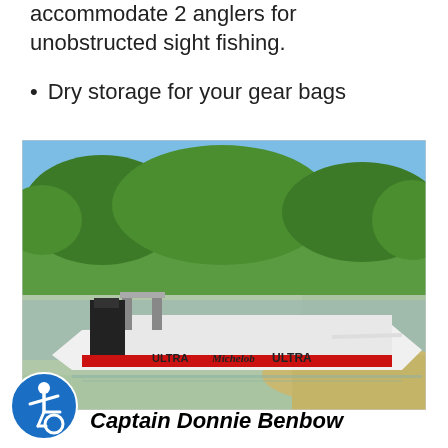accommodate 2 anglers for unobstructed sight fishing.
Dry storage for your gear bags
[Figure (photo): A white flat-bottom fishing boat branded with Michelob Ultra logos, docked along a sandy shoreline with clear shallow water and lush green trees in the background under a blue sky.]
Captain Donnie Benbow